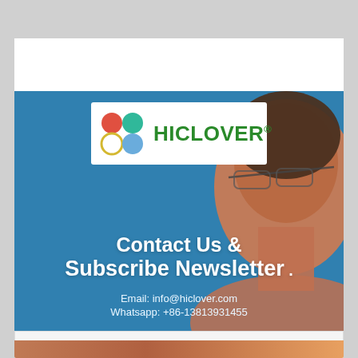Google検索 - medical waste
[Figure (screenshot): HICLOVER company banner showing logo with four colored circles (red, green, yellow, blue) and company name, overlaid on a blue background with a woman wearing glasses. Text reads: Contact Us & Subscribe Newsletter. Email: info@hiclover.com  Whatsapp: +86-13813931455]
Email Address